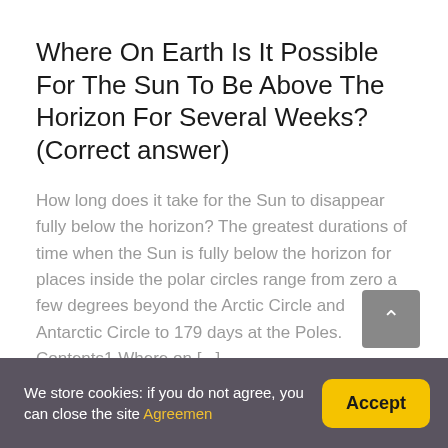Where On Earth Is It Possible For The Sun To Be Above The Horizon For Several Weeks? (Correct answer)
How long does it take for the Sun to disappear fully below the horizon? The greatest durations of time when the Sun is fully below the horizon for places inside the polar circles range from zero a few degrees beyond the Arctic Circle and Antarctic Circle to 179 days at the Poles. Contents1 Where on [...]
We store cookies: if you do not agree, you can close the site Agreemen